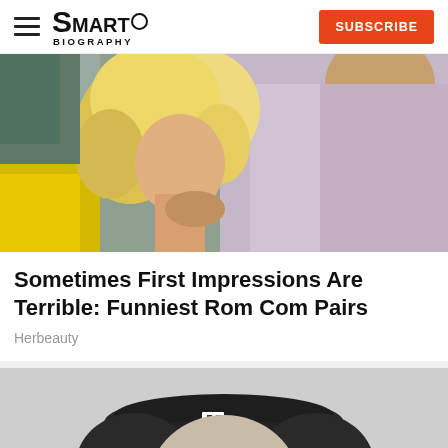SMART BIOGRAPHY | SUBSCRIBE
[Figure (photo): Color photo of a blonde woman and a man in a light purple shirt, appearing to be in a romantic/dramatic moment near a yellow car]
Sometimes First Impressions Are Terrible: Funniest Rom Com Pairs
Herbeauty
[Figure (photo): Black and white photo of a young woman wearing a military-style garrison cap with an insignia, looking at the camera]